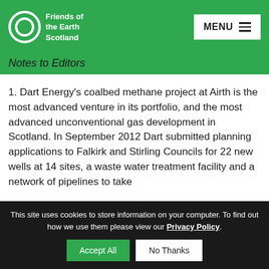Friends of the Earth Scotland — MENU
Notes to Editors
1. Dart Energy's coalbed methane project at Airth is the most advanced venture in its portfolio, and the most advanced unconventional gas development in Scotland. In September 2012 Dart submitted planning applications to Falkirk and Stirling Councils for 22 new wells at 14 sites, a waste water treatment facility and a network of pipelines to take
This site uses cookies to store information on your computer. To find out how we use them please view our Privacy Policy.